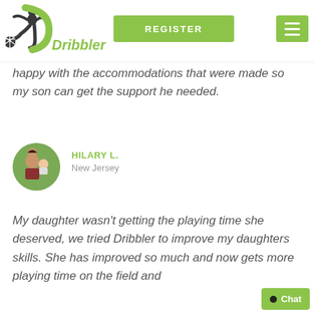[Figure (logo): Dribbler logo: soccer player silhouette kicking ball with green D shape and italic green Dribbler text]
REGISTER
happy with the accommodations that were made so my son can get the support he needed.
[Figure (photo): Circular avatar photo of Hilary L. with a baby, outdoors green background]
HILARY L.
New Jersey
My daughter wasn't getting the playing time she deserved, we tried Dribbler to improve my daughters skills. She has improved so much and now gets more playing time on the field and